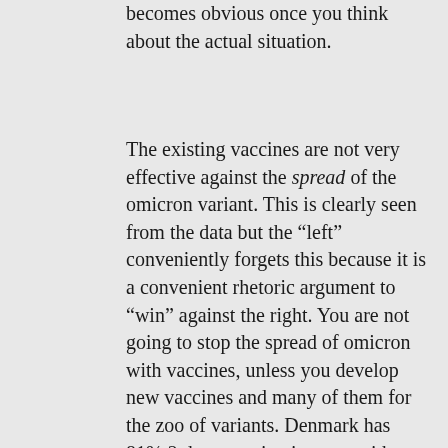becomes obvious once you think about the actual situation.
The existing vaccines are not very effective against the spread of the omicron variant. This is clearly seen from the data but the “left” conveniently forgets this because it is a convenient rhetoric argument to “win” against the right. You are not going to stop the spread of omicron with vaccines, unless you develop new vaccines and many of them for the zoo of variants. Denmark has 81% 2 dose vaccination rate with 62% booster rate while having one of the highest rates of infection.
Again, this is only with respect to stopping the spread and not the death rates.
The unvaccinated in the west do not contribute that much to the creation of new variants. There is a whole world of third world countries where they are strapping